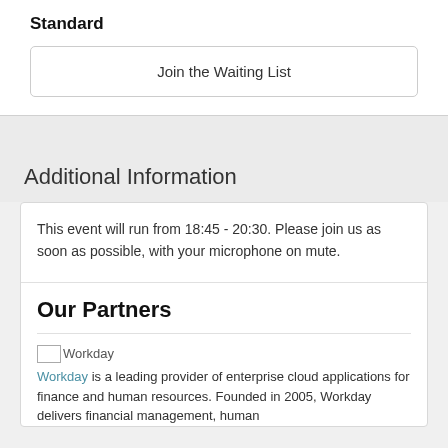Standard
Join the Waiting List
Additional Information
This event will run from 18:45 - 20:30. Please join us as soon as possible, with your microphone on mute.
Our Partners
[Figure (logo): Workday logo placeholder image]
Workday is a leading provider of enterprise cloud applications for finance and human resources. Founded in 2005, Workday delivers financial management, human